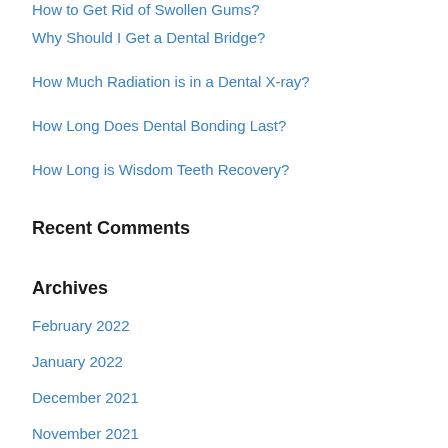How to Get Rid of Swollen Gums?
Why Should I Get a Dental Bridge?
How Much Radiation is in a Dental X-ray?
How Long Does Dental Bonding Last?
How Long is Wisdom Teeth Recovery?
Recent Comments
Archives
February 2022
January 2022
December 2021
November 2021
October 2021
September 2021